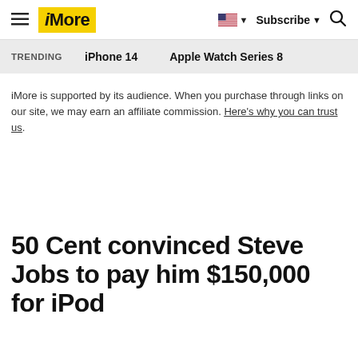iMore — Subscribe
TRENDING   iPhone 14   Apple Watch Series 8
iMore is supported by its audience. When you purchase through links on our site, we may earn an affiliate commission. Here's why you can trust us.
50 Cent convinced Steve Jobs to pay him $150,000 for iPod